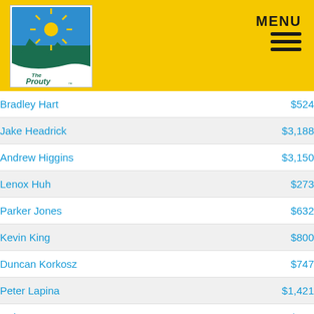[Figure (logo): The Prouty logo - mountains with sun rays on teal background, white curved swoosh at bottom with 'The Prouty' text]
MENU
| Name | Amount |
| --- | --- |
| Bradley Hart | $524 |
| Jake Headrick | $3,188 |
| Andrew Higgins | $3,150 |
| Lenox Huh | $273 |
| Parker Jones | $632 |
| Kevin King | $800 |
| Duncan Korkosz | $747 |
| Peter Lapina | $1,421 |
| Arthur Lee | $302 |
| Owen Lee | $382 |
| Jameson Liljedahl | $1,106 |
| Danny Locascio | $1,921 |
| Michael Mauricio | $358 |